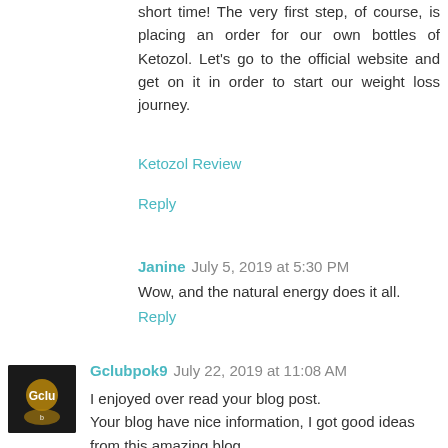short time! The very first step, of course, is placing an order for our own bottles of Ketozol. Let's go to the official website and get on it in order to start our weight loss journey.
Ketozol Review
Reply
Janine  July 5, 2019 at 5:30 PM
Wow, and the natural energy does it all.
Reply
[Figure (photo): Avatar image for Gclubpok9 commenter, dark background with gold club logo]
Gclubpok9  July 22, 2019 at 11:08 AM
I enjoyed over read your blog post.
Your blog have nice information, I got good ideas from this amazing blog.
I am always searching like this type blog post. I hope I will see again...